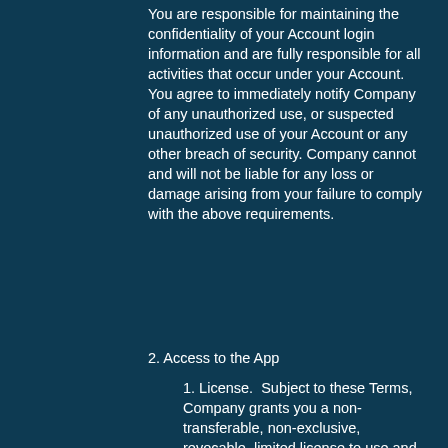You are responsible for maintaining the confidentiality of your Account login information and are fully responsible for all activities that occur under your Account.  You agree to immediately notify Company of any unauthorized use, or suspected unauthorized use of your Account or any other breach of security. Company cannot and will not be liable for any loss or damage arising from your failure to comply with the above requirements.
2. Access to the App
1. License.  Subject to these Terms, Company grants you a non-transferable, non-exclusive, revocable, limited license to use and access